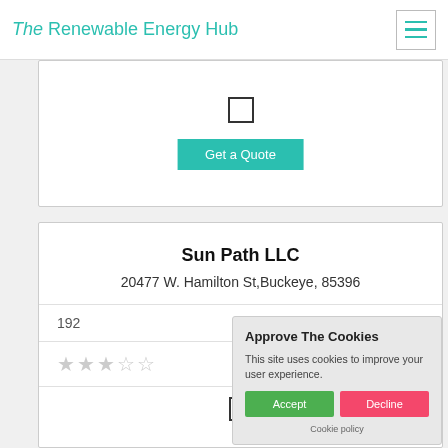The Renewable Energy Hub
[Figure (screenshot): Checkbox (unchecked) in a white card]
Get a Quote
Sun Path LLC
20477 W. Hamilton St,Buckeye, 85396
192
[Figure (other): Star rating - approximately 2-3 stars out of 5, gray/unfilled]
[Figure (screenshot): Checkbox (unchecked) in a white card]
Approve The Cookies
This site uses cookies to improve your user experience.
Accept  Decline
Cookie policy